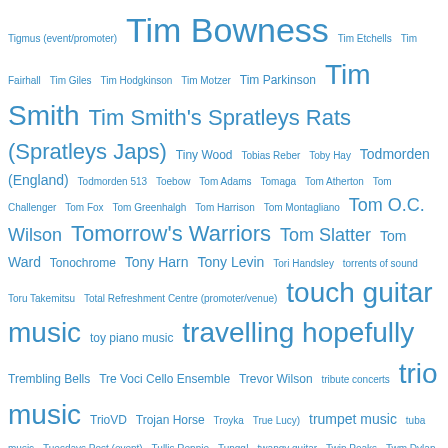[Figure (infographic): Tag cloud with terms related to music events, artists, and genres in varying font sizes, all in blue color. Terms include: Tigmus (event/promoter), Tim Bowness, Tim Etchells, Tim Fairhall, Tim Giles, Tim Hodgkinson, Tim Motzer, Tim Parkinson, Tim Smith, Tim Smith's Spratleys Rats (Spratleys Japs), Tiny Wood, Tobias Reber, Toby Hay, Todmorden (England), Todmorden 513, Toebow, Tom Adams, Tomaga, Tom Atherton, Tom Challenger, Tom Fox, Tom Greenhalgh, Tom Harrison, Tom Montagliano, Tom O.C. Wilson, Tomorrow's Warriors, Tom Slatter, Tom Ward, Tonochrome, Tony Harn, Tony Levin, Tori Handsley, torrents of sound, Toru Takemitsu, Total Refreshment Centre (promoter/venue), touch guitar music, toy piano music, travelling hopefully, Trembling Bells, Tre Voci Cello Ensemble, Trevor Wilson, tribute concerts, trio music, TrioVD, Trojan Horse, Troyka, True Lucy), trumpet music, tuba music, Tuesdays Post (event), Tullis Rennie, Tungg!, twangy guitar, Twin Peaks, Twm Dylan, Uiutna (Olmo Uiutna), Ultrasound, UnicaZürn, Uni Ika Ai, unusual instruments, urban frowning, Ursa, Utrecht (Netherlands), V A L V E, Val Welbanks, Vanishing Twin, Vaughan Simons, Vennart, Vespers, Vibracathedral Orchestra, viola music, violin music, viol music, Vivien Goodwin-Darke, Vivienne Bellos, Viv...]